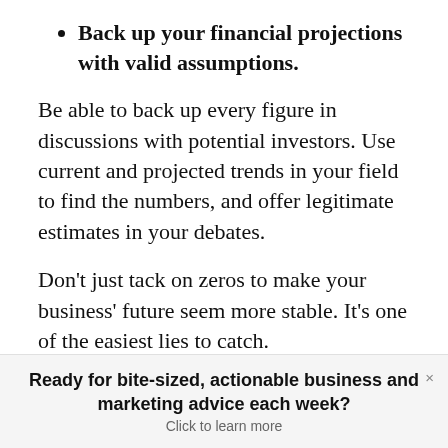Back up your financial projections with valid assumptions.
Be able to back up every figure in discussions with potential investors. Use current and projected trends in your field to find the numbers, and offer legitimate estimates in your debates.
Don't just tack on zeros to make your business' future seem more stable. It's one of the easiest lies to catch.
Ready for bite-sized, actionable business and marketing advice each week? Click to learn more